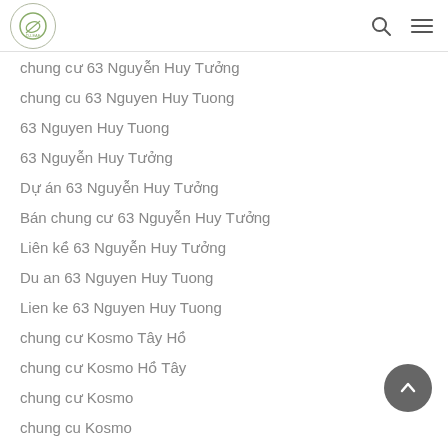O-LEAF logo with search and menu icons
chung cư 63 Nguyễn Huy Tưởng
chung cu 63 Nguyen Huy Tuong
63 Nguyen Huy Tuong
63 Nguyễn Huy Tưởng
Dự án 63 Nguyễn Huy Tưởng
Bán chung cư 63 Nguyễn Huy Tưởng
Liên kề 63 Nguyễn Huy Tưởng
Du an 63 Nguyen Huy Tuong
Lien ke 63 Nguyen Huy Tuong
chung cư Kosmo Tây Hồ
chung cư Kosmo Hồ Tây
chung cư Kosmo
chung cu Kosmo
Kosmo Tây Hồ
Kosmo Tay Ho
Kosmo